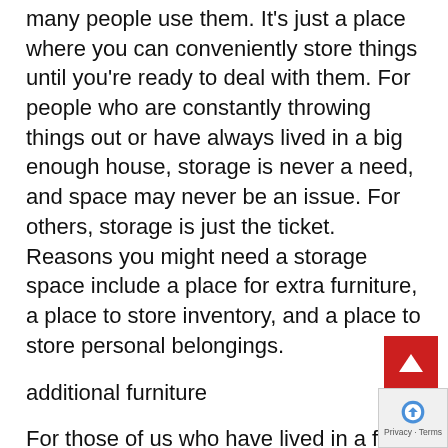many people use them. It's just a place where you can conveniently store things until you're ready to deal with them. For people who are constantly throwing things out or have always lived in a big enough house, storage is never a need, and space may never be an issue. For others, storage is just the ticket. Reasons you might need a storage space include a place for extra furniture, a place to store inventory, and a place to store personal belongings.
additional furniture
For those of us who have lived in a few apartments, we understand how importa… to have a place with enough space for every… we have. In some cases we need to get rid of our